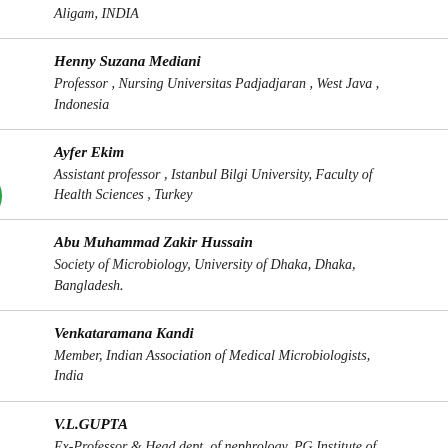Aligam, INDIA
Henny Suzana Mediani
Professor , Nursing Universitas Padjadjaran , West Java , Indonesia
Ayfer Ekim
Assistant professor , Istanbul Bilgi University, Faculty of Health Sciences , Turkey
Abu Muhammad Zakir Hussain
Society of Microbiology, University of Dhaka, Dhaka, Bangladesh.
Venkataramana Kandi
Member, Indian Association of Medical Microbiologists, India
V.L.GUPTA
Ex-Professor & Head dept. of nephrology, PG Institute of Medical Sciences, Nagpur, India